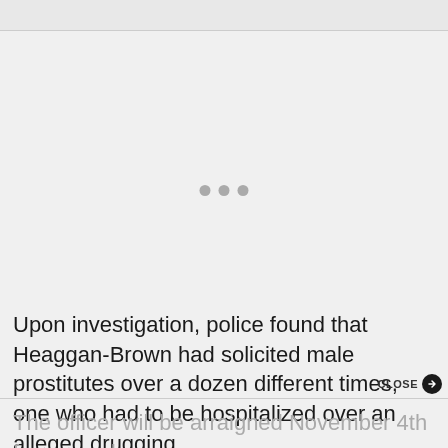[Figure (other): Gray top bar / header area of a web page]
[Figure (other): Loading indicator with three gray dots in center of page]
Upon investigation, police found that Heaggan-Brown had solicited male prostitutes over a dozen different times, one who had to be hospitalized over an alleged drugging.
The officer will be arraigned November 4th for second